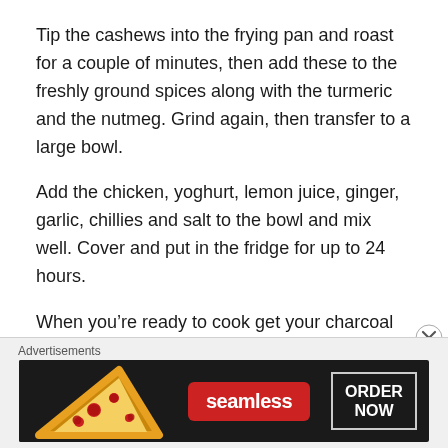Tip the cashews into the frying pan and roast for a couple of minutes, then add these to the freshly ground spices along with the turmeric and the nutmeg. Grind again, then transfer to a large bowl.
Add the chicken, yoghurt, lemon juice, ginger, garlic, chillies and salt to the bowl and mix well. Cover and put in the fridge for up to 24 hours.
When you’re ready to cook get your charcoal barbecue going with charcoal on one side only.
Thread the chicken, not too tightly, onto metal skewers.
Advertisements
[Figure (other): Seamless advertisement banner with pizza image on the left, Seamless logo in the center, and ORDER NOW button on the right, all on a dark background.]